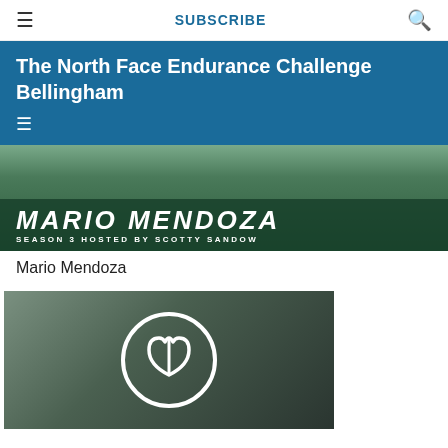≡   SUBSCRIBE   🔍
The North Face Endurance Challenge Bellingham
[Figure (photo): Photo banner showing 'MARIO MENDOZA SEASON 3 HOSTED BY SCOTTY SANDOW' text overlay on a dark teal/green background]
Mario Mendoza
[Figure (photo): Photo showing a person wearing a North Face jacket with The North Face circular logo visible]